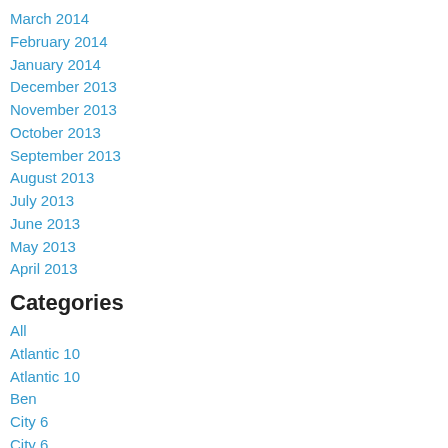March 2014
February 2014
January 2014
December 2013
November 2013
October 2013
September 2013
August 2013
July 2013
June 2013
May 2013
April 2013
Categories
All
Atlantic 10
Atlantic 10
Ben
City 6
City 6
Dan